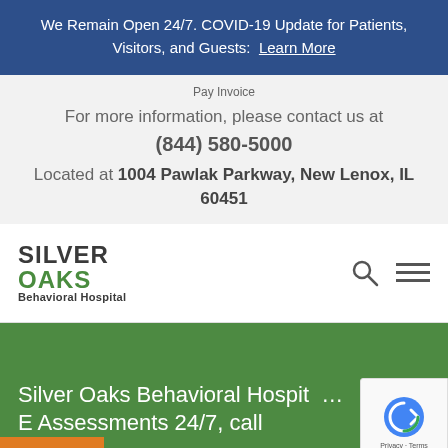We Remain Open 24/7. COVID-19 Update for Patients, Visitors, and Guests: Learn More
Pay Invoice
For more information, please contact us at (844) 580-5000
Located at 1004 Pawlak Parkway, New Lenox, IL 60451
[Figure (logo): Silver Oaks Behavioral Hospital logo with text SILVER OAKS in black and green, and Behavioral Hospital subtitle]
Silver Oaks Behavioral Hospital E Assessments 24/7, call